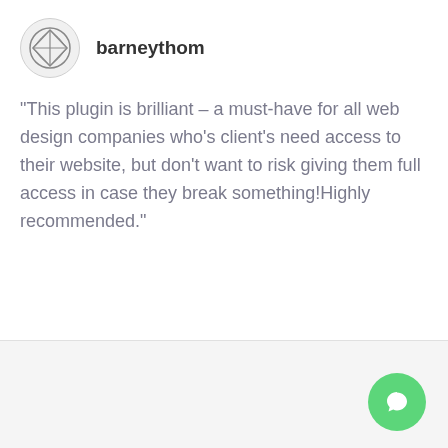[Figure (logo): Avatar/logo circle with a geometric diamond/globe icon inside]
barneythom
"This plugin is brilliant – a must-have for all web design companies who's client's need access to their website, but don't want to risk giving them full access in case they break something!Highly recommended."
[Figure (illustration): Green circular chat/comment button icon in the bottom right corner]